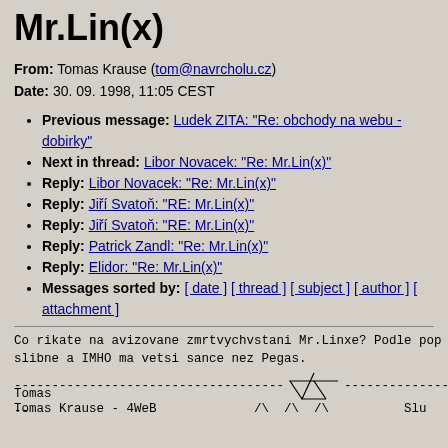Mr.Lin(x)
From: Tomas Krause (tom@navrcholu.cz)
Date: 30. 09. 1998, 11:05 CEST
Previous message: Ludek ZITA: "Re: obchody na webu - dobirky"
Next in thread: Libor Novacek: "Re: Mr.Lin(x)"
Reply: Libor Novacek: "Re: Mr.Lin(x)"
Reply: Jiří Svatoň: "RE: Mr.Lin(x)"
Reply: Jiří Svatoň: "RE: Mr.Lin(x)"
Reply: Patrick Zandl: "Re: Mr.Lin(x)"
Reply: Elidor: "Re: Mr.Lin(x)"
Messages sorted by: [ date ] [ thread ] [ subject ] [ author ] [ attachment ]
Co rikate na avizovane zmrtvychvstani Mr.Linxe? Podle pop
slibne a IMHO ma vetsi sance nez Pegas.

Tomas
--
Tomas Krause - 4WeB                                                   Slu